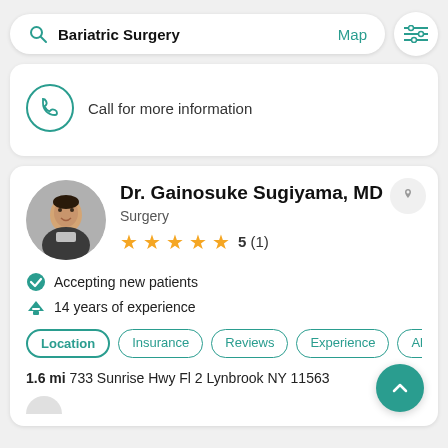Bariatric Surgery   Map
Call for more information
Dr. Gainosuke Sugiyama, MD
Surgery
5 (1)
Accepting new patients
14 years of experience
Location  Insurance  Reviews  Experience  Abo
1.6 mi  733 Sunrise Hwy Fl 2 Lynbrook NY 11563